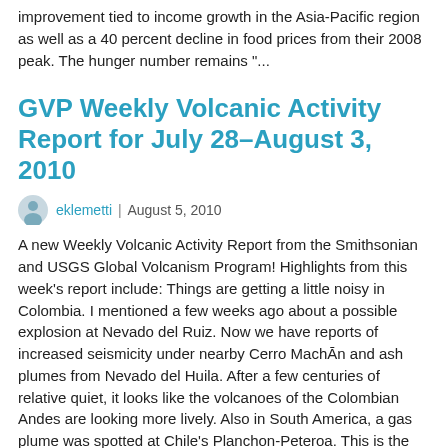improvement tied to income growth in the Asia-Pacific region as well as a 40 percent decline in food prices from their 2008 peak. The hunger number remains "...
GVP Weekly Volcanic Activity Report for July 28–August 3, 2010
eklemetti | August 5, 2010
A new Weekly Volcanic Activity Report from the Smithsonian and USGS Global Volcanism Program! Highlights from this week's report include: Things are getting a little noisy in Colombia. I mentioned a few weeks ago about a possible explosion at Nevado del Ruiz. Now we have reports of increased seismicity under nearby Cerro MachĀn and ash plumes from Nevado del Huila. After a few centuries of relative quiet, it looks like the volcanoes of the Colombian Andes are looking more lively. Also in South America, a gas plume was spotted at Chile's Planchon-Peteroa. This is the second time this year that...
What does one summer make?